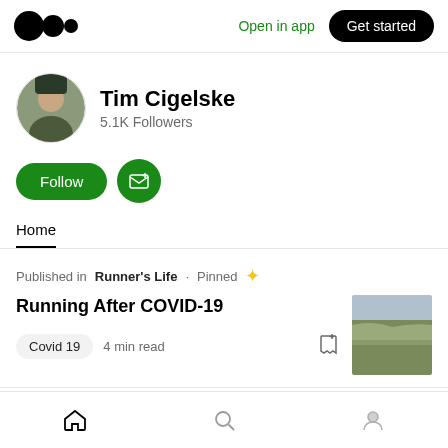Medium — Open in app — Get started
Tim Cigelske
5.1K Followers
Follow
Home
Published in Runner's Life · Pinned
Running After COVID-19
Covid 19  4 min read
[Figure (photo): Outdoor landscape photo showing a field path with overcast sky]
Home · Search · Profile